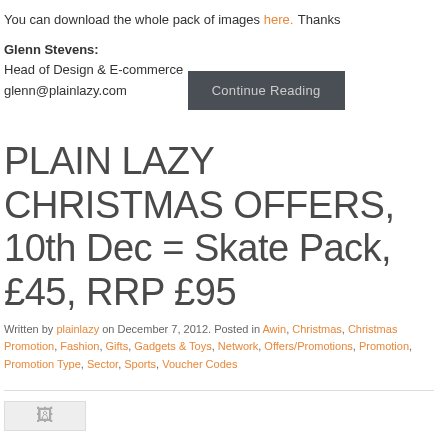You can download the whole pack of images here.
Thanks
Glenn Stevens:
Head of Design & E-commerce
glenn@plainlazy.com
Continue Reading
PLAIN LAZY CHRISTMAS OFFERS, 10th Dec = Skate Pack, £45, RRP £95
Written by plainlazy on December 7, 2012. Posted in Awin, Christmas, Christmas Promotion, Fashion, Gifts, Gadgets & Toys, Network, Offers/Promotions, Promotion, Promotion Type, Sector, Sports, Voucher Codes